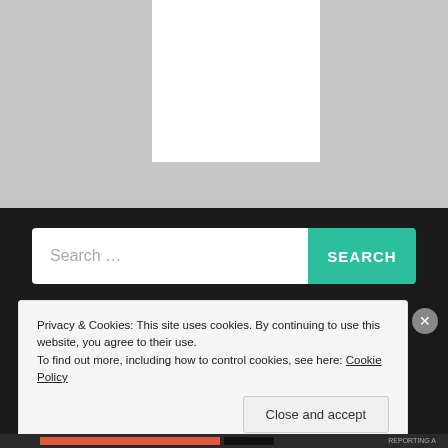[Figure (screenshot): Gray background area with a white rectangular box in the upper center portion, representing a placeholder image or content area on a dark website]
[Figure (screenshot): Search bar with white input field showing placeholder text 'Search ...' and a teal/green 'SEARCH' button on the right, set against a dark background]
Privacy & Cookies: This site uses cookies. By continuing to use this website, you agree to their use.
To find out more, including how to control cookies, see here: Cookie Policy
Close and accept